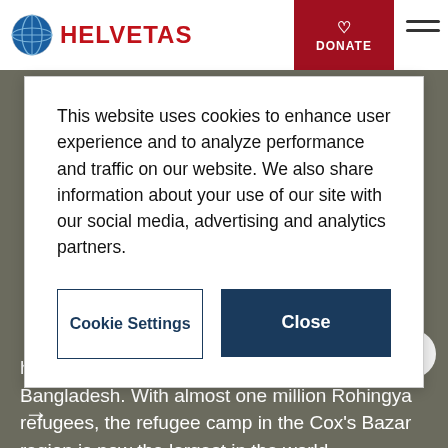HELVETAS | DONATE
This website uses cookies to enhance user experience and to analyze performance and traffic on our website. We also share information about your use of our site with our social media, advertising and analytics partners.
Cookie Settings | Close
have fled violence in Myanmar to seek refuge in Bangladesh. With almost one million Rohingya refugees, the refugee camp in the Cox's Bazar region is now the largest in the world.
→